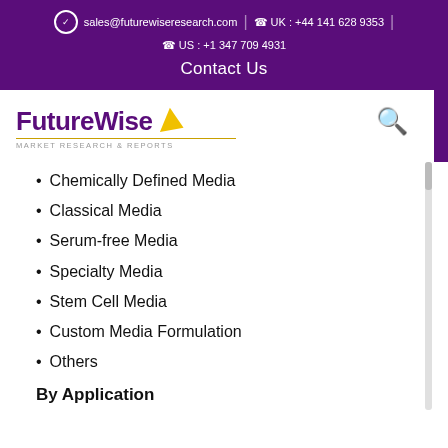sales@futurewiseresearch.com  |  UK : +44 141 628 9353  |  US : +1 347 709 4931
Contact Us
[Figure (logo): FutureWise Market Research & Reports logo with yellow arrow icon and search icon]
Chemically Defined Media
Classical Media
Serum-free Media
Specialty Media
Stem Cell Media
Custom Media Formulation
Others
By Application